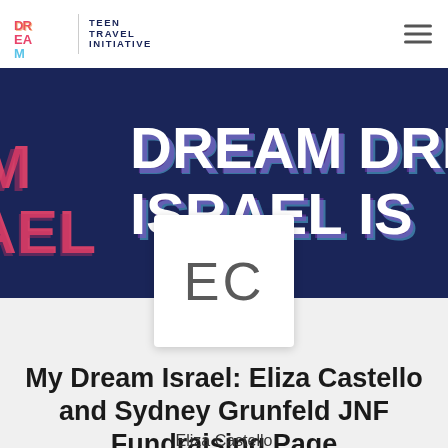[Figure (logo): Dream Israel Teen Travel Initiative logo with small colorful 3D lettering and vertical divider bar]
[Figure (illustration): Dark navy banner with repeating 3D 'DREAM ISRAEL' text in colorful gradient (pink, orange, blue) rendered multiple times across the banner]
[Figure (illustration): White square avatar card with initials EC in large gray letters]
My Dream Israel: Eliza Castello and Sydney Grunfeld JNF Fundraising Page
Eliza Castello